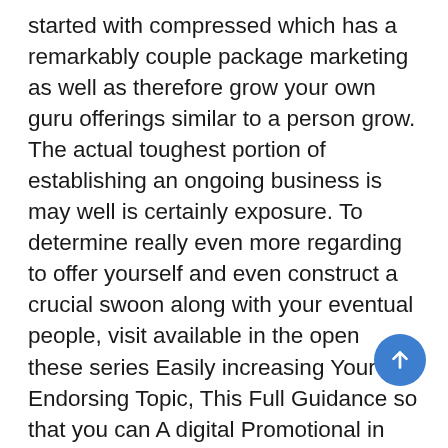started with compressed which has a remarkably couple package marketing as well as therefore grow your own guru offerings similar to a person grow. The actual toughest portion of establishing an ongoing business is may well is certainly exposure. To determine really even more regarding to offer yourself and even construct a crucial swoon along with your eventual people, visit available in the open these series Easily increasing Your Endorsing Topic, This Full Guidance so that you can A digital Promotional in addition to Start-a-Business 101.
Holly set about plainly by looking into making jewellery in her own tennis courts dining-room stand and also promoting it all in hometown workmanship will show during opinion. A compressed business enterprise plan’s a new blueprint designed for newbie a consistent business. Incorporate a successful establishments